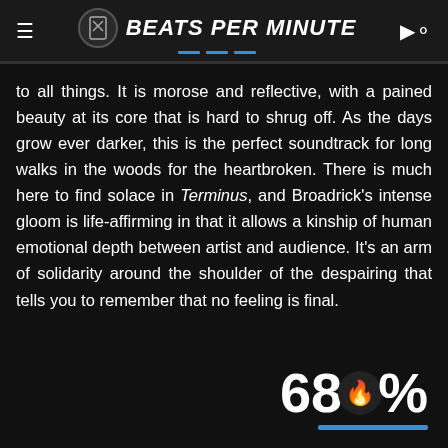BEATS PER MINUTE
to all things. It is morose and reflective, with a pained beauty at its core that is hard to shrug off. As the days grow ever darker, this is the perfect soundtrack for long walks in the woods for the heartbroken. There is much here to find solace in Terminus, and Broadrick's intense gloom is life-affirming in that it allows a kinship of human emotional depth between artist and audience. It's an arm of solidarity around the shoulder of the despairing that tells you to remember that no feeling is final.
[Figure (other): Rating display showing '68%' with a fire emoji icon and blue underline bar]